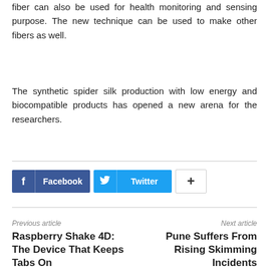fiber can also be used for health monitoring and sensing purpose. The new technique can be used to make other fibers as well.
The synthetic spider silk production with low energy and biocompatible products has opened a new arena for the researchers.
[Figure (infographic): Social sharing buttons: Facebook, Twitter, and a plus button]
Previous article
Raspberry Shake 4D: The Device That Keeps Tabs On
Next article
Pune Suffers From Rising Skimming Incidents